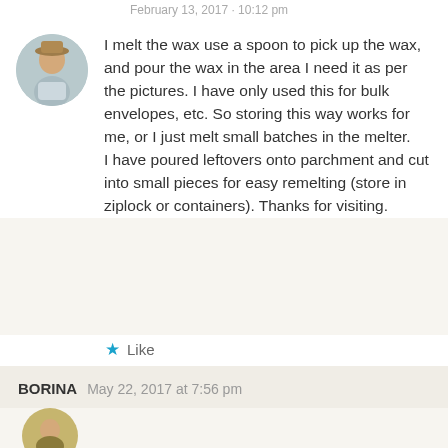I melt the wax use a spoon to pick up the wax, and pour the wax in the area I need it as per the pictures. I have only used this for bulk envelopes, etc. So storing this way works for me, or I just melt small batches in the melter.
I have poured leftovers onto parchment and cut into small pieces for easy remelting (store in ziplock or containers). Thanks for visiting.
Like
BORINA   May 22, 2017 at 7:56 pm